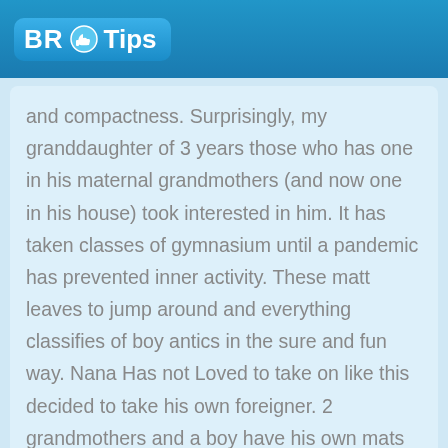BR Tips
and compactness. Surprisingly, my granddaughter of 3 years those who has one in his maternal grandmothers (and now one in his house) took interested in him. It has taken classes of gymnasium until a pandemic has prevented inner activity. These matt leaves to jump around and everything classifies of boy antics in the sure and fun way. Nana Has not Loved to take on like this decided to take his own foreigner. 2 grandmothers and a boy have his own mats now.
4 / 5   Cassidy